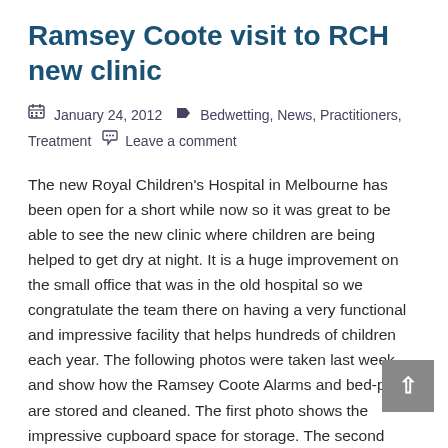Ramsey Coote visit to RCH new clinic
January 24, 2012   Bedwetting, News, Practitioners, Treatment   Leave a comment
The new Royal Children's Hospital in Melbourne has been open for a short while now so it was great to be able to see the new clinic where children are being helped to get dry at night. It is a huge improvement on the small office that was in the old hospital so we congratulate the team there on having a very functional and impressive facility that helps hundreds of children each year. The following photos were taken last week and show how the Ramsey Coote Alarms and bed-pads are stored and cleaned. The first photo shows the impressive cupboard space for storage. The second photo shows a chair that is used as a practice toilet and the final photo shows the facilities used to clean and air